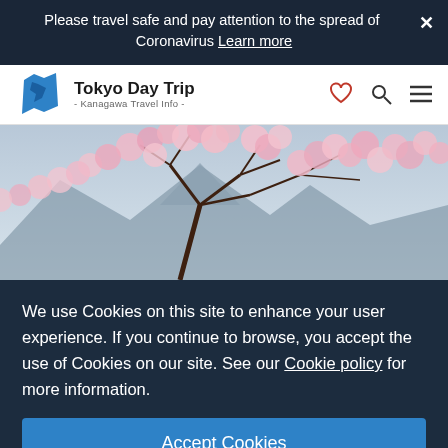Please travel safe and pay attention to the spread of Coronavirus Learn more ×
[Figure (logo): Tokyo Day Trip - Kanagawa Travel Info - logo with blue map icon of Kanagawa prefecture]
[Figure (photo): Cherry blossom tree with pink flowers against a mountain and sky background]
We use Cookies on this site to enhance your user experience. If you continue to browse, you accept the use of Cookies on our site. See our Cookie policy for more information.
Accept Cookies